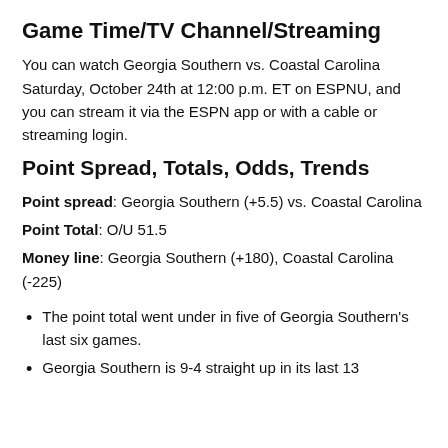Game Time/TV Channel/Streaming
You can watch Georgia Southern vs. Coastal Carolina Saturday, October 24th at 12:00 p.m. ET on ESPNU, and you can stream it via the ESPN app or with a cable or streaming login.
Point Spread, Totals, Odds, Trends
Point spread: Georgia Southern (+5.5) vs. Coastal Carolina
Point Total: O/U 51.5
Money line: Georgia Southern (+180), Coastal Carolina (-225)
The point total went under in five of Georgia Southern's last six games.
Georgia Southern is 9-4 straight up in its last 13